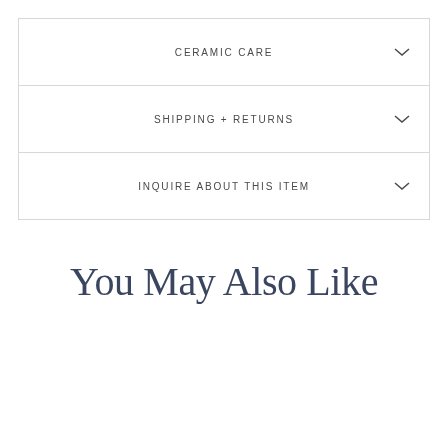CERAMIC CARE
SHIPPING + RETURNS
INQUIRE ABOUT THIS ITEM
You May Also Like